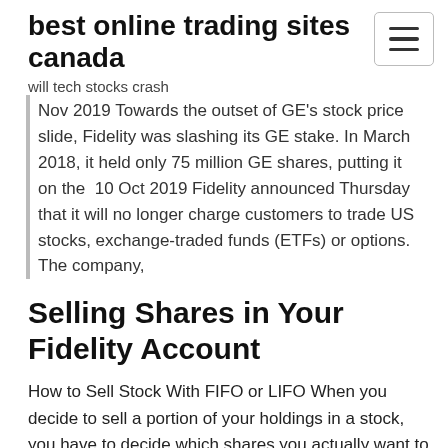best online trading sites canada
will tech stocks crash
Nov 2019 Towards the outset of GE's stock price slide, Fidelity was slashing its GE stake. In March 2018, it held only 75 million GE shares, putting it on the  10 Oct 2019 Fidelity announced Thursday that it will no longer charge customers to trade US stocks, exchange-traded funds (ETFs) or options. The company,
Selling Shares in Your Fidelity Account
How to Sell Stock With FIFO or LIFO When you decide to sell a portion of your holdings in a stock, you have to decide which shares you actually want to sell. Two of the most common methods SHARES - Fidelity Investments
Send in Stock Certificates You can deposit stock